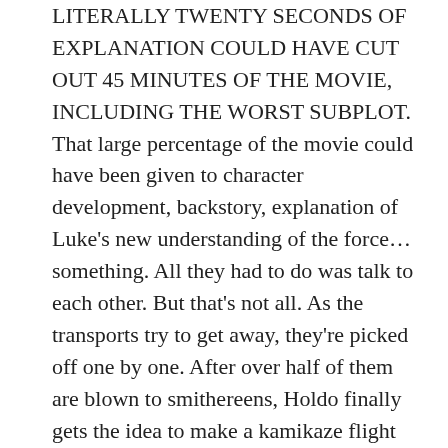LITERALLY TWENTY SECONDS OF EXPLANATION COULD HAVE CUT OUT 45 MINUTES OF THE MOVIE, INCLUDING THE WORST SUBPLOT. That large percentage of the movie could have been given to character development, backstory, explanation of Luke's new understanding of the force… something. All they had to do was talk to each other. But that's not all. As the transports try to get away, they're picked off one by one. After over half of them are blown to smithereens, Holdo finally gets the idea to make a kamikaze flight through the Order's fleet. Why did it take so long? If the point was to reduce the Resistance down to a handful of people, do it in a way that makes sense and isn't just the result of stupidity.
3. Crait. The great visuals of the white and red planet didn't make up for the mind-numbing